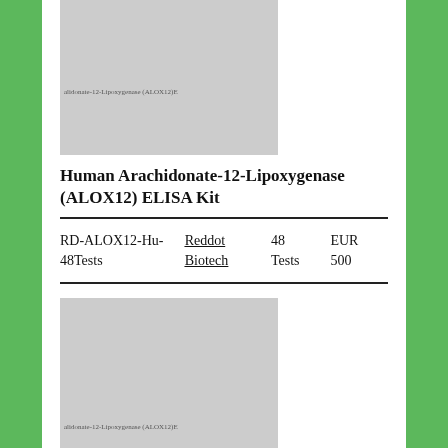[Figure (photo): Gray placeholder product image for Human Arachidonate-12-Lipoxygenase (ALOX12) ELISA Kit with watermark text]
Human Arachidonate-12-Lipoxygenase (ALOX12) ELISA Kit
| SKU | Brand | Qty | Price |
| --- | --- | --- | --- |
| RD-ALOX12-Hu-48Tests | Reddot Biotech | 48 Tests | EUR 500 |
[Figure (photo): Gray placeholder product image for Human Arachidonate-12-Lipoxygenase (ALOX12) ELISA Kit with watermark text]
Human Arachidonate-12-Lipoxygenase (ALOX12) ELISA Kit
| SKU | Brand | Qty | Price |
| --- | --- | --- | --- |
| RD-ALOX12-Hu-96Tests | Reddot Biotech | 96 Tests | EUR 692 |